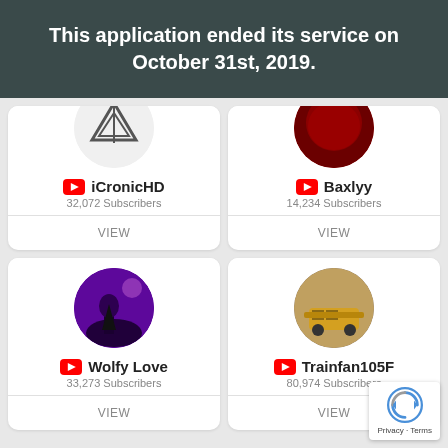This application ended its service on October 31st, 2019.
[Figure (screenshot): Top row of two partially-visible YouTube channel cards: iCronicHD (32,072 Subscribers) with a geometric logo avatar, and Baxlyy (14,234 Subscribers) with a dark red circular avatar. Each card has a VIEW button.]
[Figure (screenshot): Bottom row of two YouTube channel cards: Wolfy Love (33,273 Subscribers) with a purple night-scene avatar, and Trainfan105F (80,974 Subscribers) with a yellow/brown train avatar. Each card has a VIEW button. A reCAPTCHA badge overlaps the bottom-right corner with 'Privacy - Terms' text.]